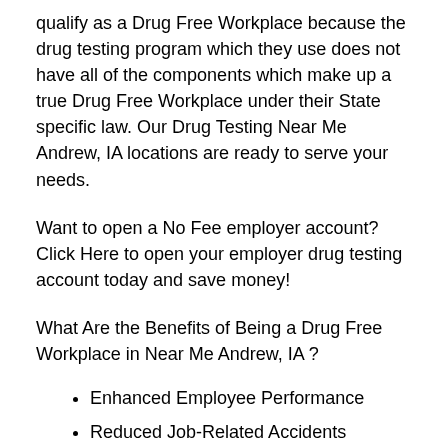qualify as a Drug Free Workplace because the drug testing program which they use does not have all of the components which make up a true Drug Free Workplace under their State specific law. Our Drug Testing Near Me Andrew, IA locations are ready to serve your needs.
Want to open a No Fee employer account? Click Here to open your employer drug testing account today and save money!
What Are the Benefits of Being a Drug Free Workplace in Near Me Andrew, IA ?
Enhanced Employee Performance
Reduced Job-Related Accidents
Reduced Employee Absenteeism
Lower Workers Compensation Rates
Improved Employee Moral
Customer Satisfaction